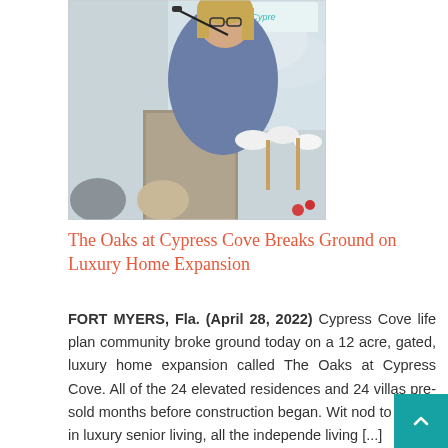[Figure (photo): A woman with blonde hair and glasses standing at a podium with a microphone, speaking at an outdoor groundbreaking event. A sign reading 'Oaks at Cypress Cove' is visible in the background. Several attendees are visible in the foreground.]
The Oaks at Cypress Cove Breaks Ground on Luxury Home Expansion
FORT MYERS, Fla. (April 28, 2022) Cypress Cove life plan community broke ground today on a 12 acre, gated, luxury home expansion called The Oaks at Cypress Cove. All of the 24 elevated residences and 24 villas pre-sold months before construction began. Wit nod to trends in luxury senior living, all the independe living [...]